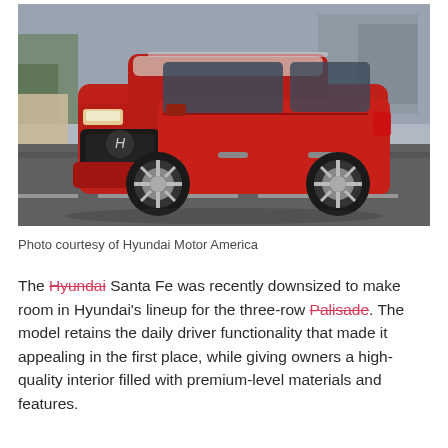[Figure (photo): A red Hyundai Santa Fe SUV driving on a road with blurred urban background, shot from a front three-quarter angle.]
Photo courtesy of Hyundai Motor America
The Hyundai Santa Fe was recently downsized to make room in Hyundai's lineup for the three-row Palisade. The model retains the daily driver functionality that made it appealing in the first place, while giving owners a high-quality interior filled with premium-level materials and features.